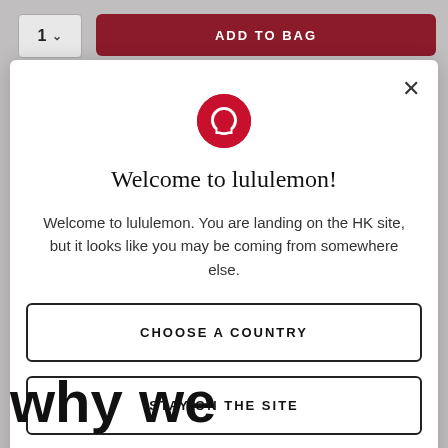[Figure (screenshot): lululemon website background with ADD TO BAG button and quantity selector]
[Figure (logo): lululemon circular red logo mark]
Welcome to lululemon!
Welcome to lululemon. You are landing on the HK site, but it looks like you may be coming from somewhere else.
CHOOSE A COUNTRY
STAY ON THE SITE
why we